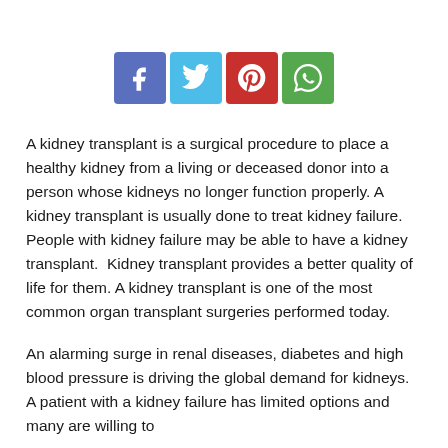[Figure (other): Social media sharing buttons: Facebook (blue-purple), Twitter (light blue), Pinterest (red), WhatsApp (green)]
A kidney transplant is a surgical procedure to place a healthy kidney from a living or deceased donor into a person whose kidneys no longer function properly. A kidney transplant is usually done to treat kidney failure. People with kidney failure may be able to have a kidney transplant.  Kidney transplant provides a better quality of life for them. A kidney transplant is one of the most common organ transplant surgeries performed today.
An alarming surge in renal diseases, diabetes and high blood pressure is driving the global demand for kidneys. A patient with a kidney failure has limited options and many are willing to